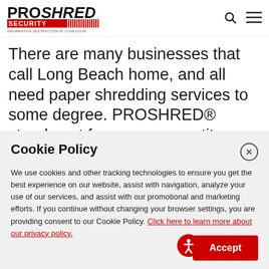[Figure (logo): PROSHRED SECURITY logo with tagline 'INFORMATION DESTRUCTION AT YOUR DOOR']
There are many businesses that call Long Beach home, and all need paper shredding services to some degree. PROSHRED® stands out from our competitors because we have experience working with a wide range of industries. Whether you are a
Cookie Policy
We use cookies and other tracking technologies to ensure you get the best experience on our website, assist with navigation, analyze your use of our services, and assist with our promotional and marketing efforts. If you continue without changing your browser settings, you are providing consent to our Cookie Policy. Click here to learn more about our privacy policy.